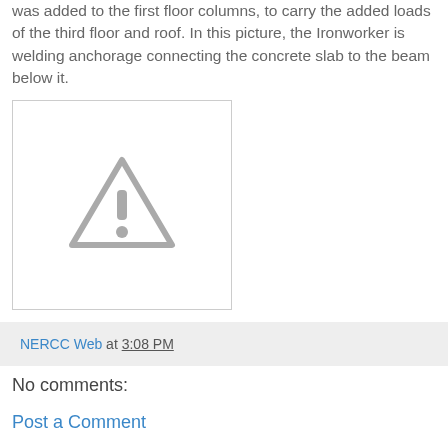was added to the first floor columns, to carry the added loads of the third floor and roof. In this picture, the Ironworker is welding anchorage connecting the concrete slab to the beam below it.
[Figure (photo): Placeholder image with a warning triangle icon indicating a missing or unavailable photo.]
NERCC Web at 3:08 PM
No comments:
Post a Comment